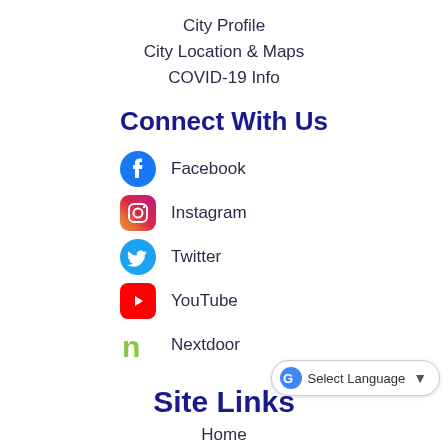City Profile
City Location & Maps
COVID-19 Info
Connect With Us
Facebook
Instagram
Twitter
YouTube
Nextdoor
Site Links
Select Language
Home